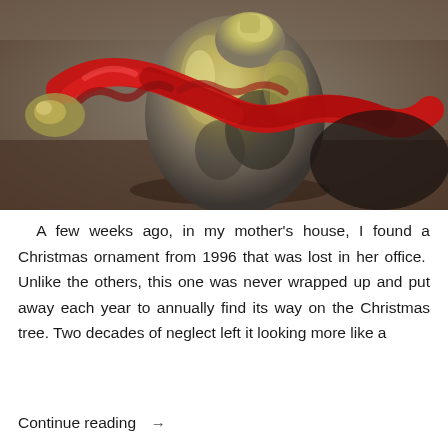[Figure (photo): Close-up photograph of a silver Christmas bell ornament with a red ribbon wrapped around it, resting on a dark brown surface. The bell appears tarnished and aged.]
A few weeks ago, in my mother's house, I found a Christmas ornament from 1996 that was lost in her office.  Unlike the others, this one was never wrapped up and put away each year to annually find its way on the Christmas tree. Two decades of neglect left it looking more like a
Continue reading  →